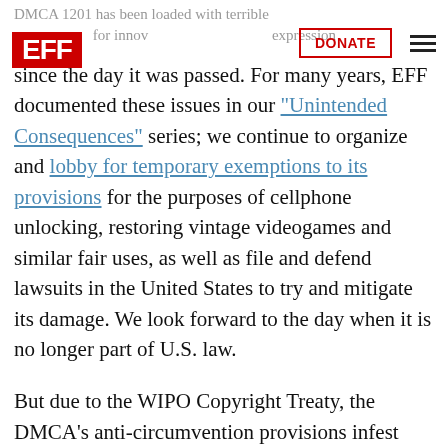EFF | DONATE | DMCA 1201 has been loaded with terrible for innovation, expression since the day it was passed.
For many years, EFF documented these issues in our "Unintended Consequences" series; we continue to organize and lobby for temporary exemptions to its provisions for the purposes of cellphone unlocking, restoring vintage videogames and similar fair uses, as well as file and defend lawsuits in the United States to try and mitigate its damage. We look forward to the day when it is no longer part of U.S. law.
But due to the WIPO Copyright Treaty, the DMCA's anti-circumvention provisions infest much of the world's jurisdictions too, including the European Union via the Information Society Directive 2001/29/EC, which stipulates: